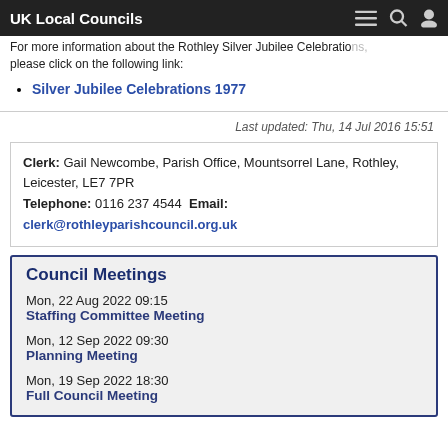UK Local Councils
For more information about the Rothley Silver Jubilee Celebrations, please click on the following link:
Silver Jubilee Celebrations 1977
Last updated: Thu, 14 Jul 2016 15:51
Clerk: Gail Newcombe, Parish Office, Mountsorrel Lane, Rothley, Leicester, LE7 7PR
Telephone: 0116 237 4544 Email: clerk@rothleyparishcouncil.org.uk
Council Meetings
Mon, 22 Aug 2022 09:15
Staffing Committee Meeting
Mon, 12 Sep 2022 09:30
Planning Meeting
Mon, 19 Sep 2022 18:30
Full Council Meeting